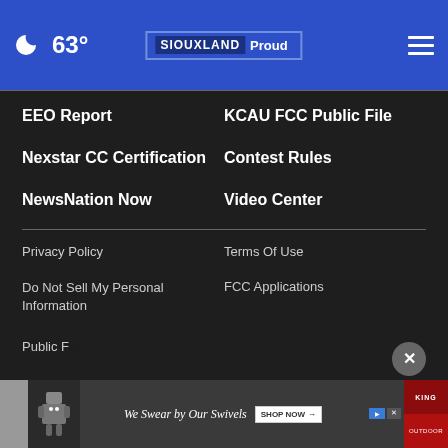63° Siouxland Proud
EEO Report
KCAU FCC Public File
Nexstar CC Certification
Contest Rules
NewsNation Now
Video Center
Privacy Policy
Terms Of Use
Do Not Sell My Personal Information
FCC Applications
Public File
[Figure (screenshot): Advertisement banner: We Swear by Our Swivels with shop now button and King branding logo]